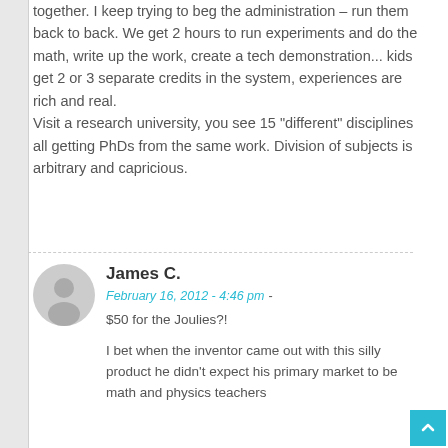together. I keep trying to beg the administration – run them back to back. We get 2 hours to run experiments and do the math, write up the work, create a tech demonstration... kids get 2 or 3 separate credits in the system, experiences are rich and real. Visit a research university, you see 15 "different" disciplines all getting PhDs from the same work. Division of subjects is arbitrary and capricious.
James C.
February 16, 2012 - 4:46 pm - $50 for the Joulies?!
I bet when the inventor came out with this silly product he didn't expect his primary market to be math and physics teachers